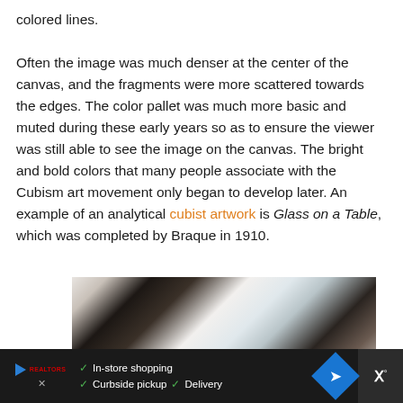colored lines.

Often the image was much denser at the center of the canvas, and the fragments were more scattered towards the edges. The color pallet was much more basic and muted during these early years so as to ensure the viewer was still able to see the image on the canvas. The bright and bold colors that many people associate with the Cubism art movement only began to develop later. An example of an analytical cubist artwork is Glass on a Table, which was completed by Braque in 1910.
[Figure (photo): Photo of two people lying down, seen from above. One person has dark curly hair, another is wearing a light blue patterned garment. Appears to be a sleep-related advertisement.]
In-store shopping  Curbside pickup  Delivery